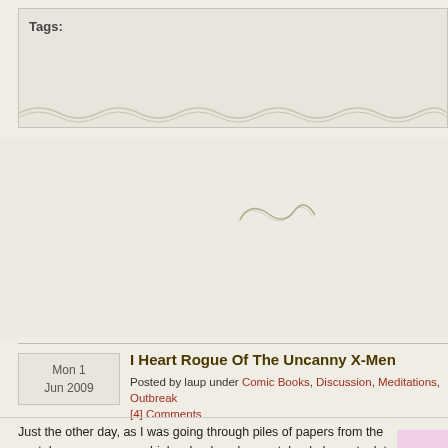Tags:
[Figure (illustration): Decorative wavy divider line at bottom of tags box]
[Figure (illustration): Decorative swirl/infinity symbol in middle area]
Mon 1 Jun 2009
I Heart Rogue Of The Uncanny X-Men
Posted by laup under Comic Books, Discussion, Meditations, Outbreak [4] Comments
Just the other day, as I was going through piles of papers from the past, I came across my high school geology notebook. I spent a lot of time doodling pictures in that class. Most of those doodles were sketches of my bored subconscious mind wishing it were somewhere else. Fun to revisit, but ultimately not worth saving.
However, on one page I found a lot of doodles of my favorite X-Men characters at the time. In particular Rogue and Wolverine. But it was Rogue I most enjoyed drawing, and seeing my old enthusiasm for her rekindled from when I was really into mainstream comic books.
[Figure (illustration): Partial comic book illustration showing a colorful character, visible on right edge]